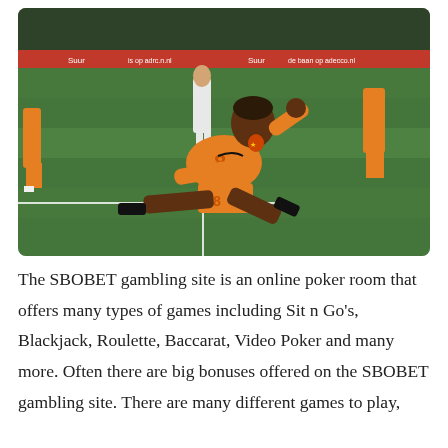[Figure (photo): A football player wearing an orange Netherlands national team jersey with number 8, celebrating a goal by sliding on his knees on a green grass pitch. Other players in orange and white are visible in the background along with stadium advertising boards.]
The SBOBET gambling site is an online poker room that offers many types of games including Sit n Go's, Blackjack, Roulette, Baccarat, Video Poker and many more. Often there are big bonuses offered on the SBOBET gambling site. There are many different games to play,